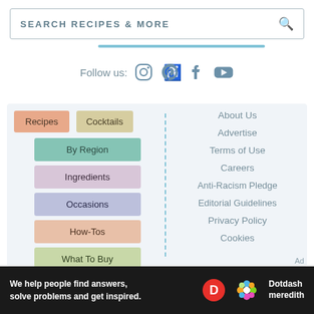SEARCH RECIPES & MORE
Follow us:
Recipes
Cocktails
By Region
Ingredients
Occasions
How-Tos
What To Buy
About Us
Advertise
Terms of Use
Careers
Anti-Racism Pledge
Editorial Guidelines
Privacy Policy
Cookies
Ad
We help people find answers, solve problems and get inspired.
Dotdash meredith